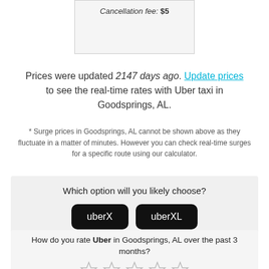Cancellation fee: $5
Prices were updated 2147 days ago. Update prices to see the real-time rates with Uber taxi in Goodsprings, AL.
* Surge prices in Goodsprings, AL cannot be shown above as they fluctuate in a matter of minutes. However you can check real-time surges for a specific route using our calculator.
Which option will you likely choose?
How do you rate Uber in Goodsprings, AL over the past 3 months?